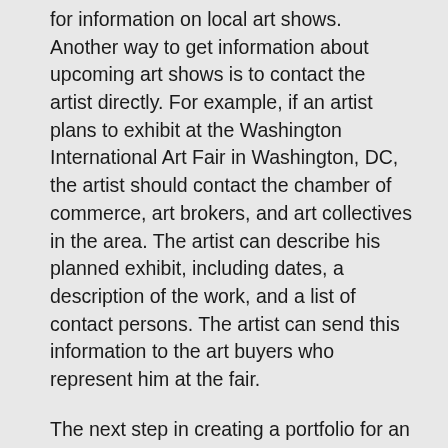for information on local art shows. Another way to get information about upcoming art shows is to contact the artist directly. For example, if an artist plans to exhibit at the Washington International Art Fair in Washington, DC, the artist should contact the chamber of commerce, art brokers, and art collectives in the area. The artist can describe his planned exhibit, including dates, a description of the work, and a list of contact persons. The artist can send this information to the art buyers who represent him at the fair.
The next step in creating a portfolio for an artist is to compile a series of his or her most recent works. The best way to do this is to start a scrapbook of recent work that the artist keeps organized by theme. One can categorize these scrapbooks chronologically, in a similar light to building calendars from paintings and drawings. Alternatively, one can organize them according to the...